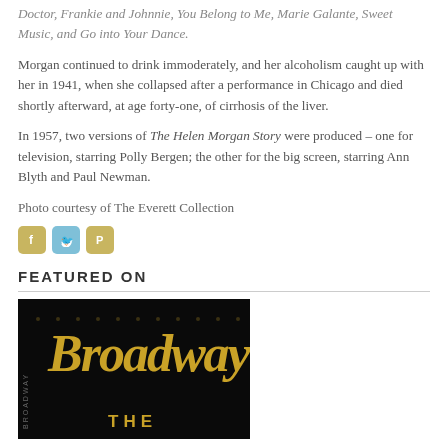Doctor, Frankie and Johnnie, You Belong to Me, Marie Galante, Sweet Music, and Go into Your Dance.
Morgan continued to drink immoderately, and her alcoholism caught up with her in 1941, when she collapsed after a performance in Chicago and died shortly afterward, at age forty-one, of cirrhosis of the liver.
In 1957, two versions of The Helen Morgan Story were produced – one for television, starring Polly Bergen; the other for the big screen, starring Ann Blyth and Paul Newman.
Photo courtesy of The Everett Collection
[Figure (other): Three social media icons: Facebook (tan/gold), Twitter (blue), Pinterest (tan/gold)]
FEATURED ON
[Figure (photo): Dark background image with Broadway title text in gold italic script and 'THE' in gold block letters below, with decorative dot pattern suggesting marquee lights.]